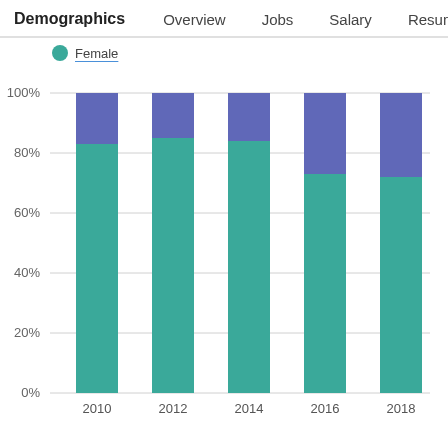Demographics  Overview  Jobs  Salary  Resume  S >
Female
[Figure (stacked-bar-chart): ]